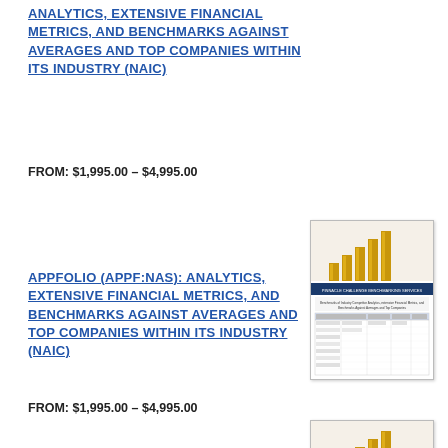ANALYTICS, EXTENSIVE FINANCIAL METRICS, AND BENCHMARKS AGAINST AVERAGES AND TOP COMPANIES WITHIN ITS INDUSTRY (NAIC)
FROM: $1,995.00 – $4,995.00
[Figure (photo): Thumbnail image of a financial report document with gold bar chart icon at top and data tables inside, on a dark blue banner header.]
APPFOLIO (APPF:NAS): ANALYTICS, EXTENSIVE FINANCIAL METRICS, AND BENCHMARKS AGAINST AVERAGES AND TOP COMPANIES WITHIN ITS INDUSTRY (NAIC)
FROM: $1,995.00 – $4,995.00
[Figure (photo): Thumbnail image of a financial report document with gold bar chart icon at top and dark blue banner header, partially visible.]